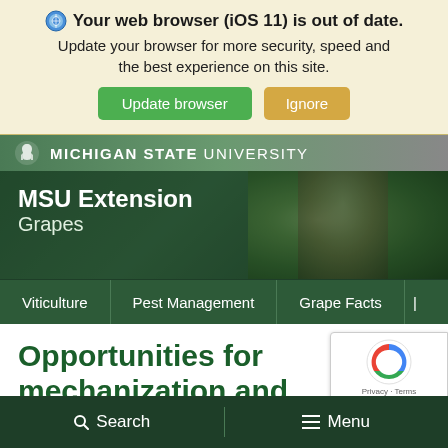Your web browser (iOS 11) is out of date. Update your browser for more security, speed and the best experience on this site.
Update browser | Ignore
[Figure (screenshot): Michigan State University header with Spartan helmet logo]
[Figure (photo): MSU Extension Grapes banner with dark green overlay and grape image in background]
Viticulture | Pest Management | Grape Facts
Opportunities for mechanization and precision
[Figure (logo): Google reCAPTCHA badge with Privacy and Terms links]
Search | Menu